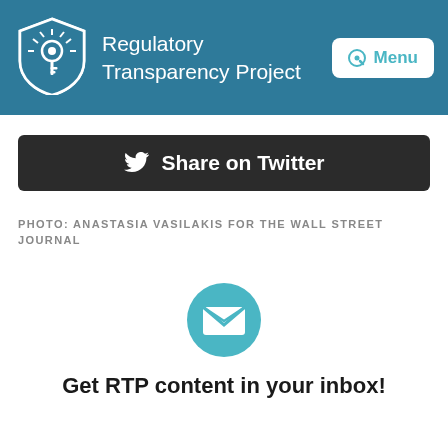Regulatory Transparency Project
[Figure (screenshot): Share on Twitter button with Twitter bird icon on dark background]
PHOTO: ANASTASIA VASILAKIS FOR THE WALL STREET JOURNAL
[Figure (logo): Teal circular email/newsletter icon]
Get RTP content in your inbox!